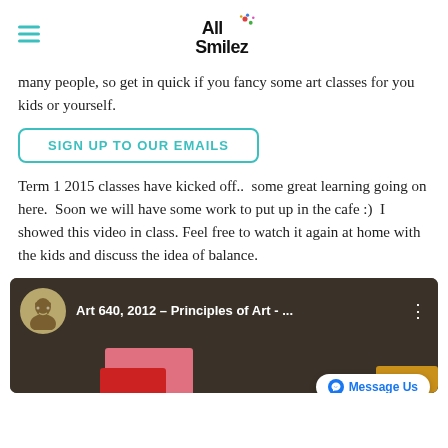All Smilez
many people, so get in quick if you fancy some art classes for you kids or yourself.
SIGN UP TO OUR EMAILS
Term 1 2015 classes have kicked off..  some great learning going on here.  Soon we will have some work to put up in the cafe :)  I showed this video in class. Feel free to watch it again at home with the kids and discuss the idea of balance.
[Figure (screenshot): YouTube video thumbnail showing 'Art 640, 2012 – Principles of Art - ...' with a circular avatar, three-dot menu, pink/red color blocks and a golden block at the bottom. A 'Message Us' Facebook Messenger button overlay is visible.]